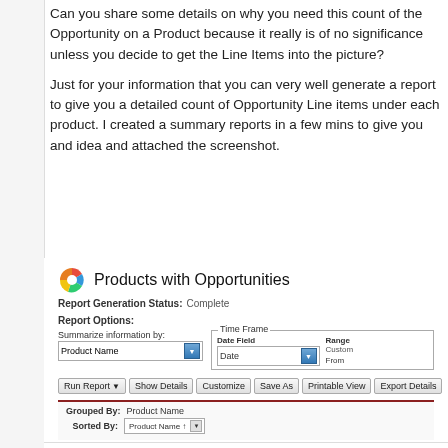Can you share some details on why you need this count of the Opportunity on a Product because it really is of no significance unless you decide to get the Line Items into the picture?
Just for your information that you can very well generate a report to give you a detailed count of Opportunity Line items under each product. I created a summary reports in a few mins to give you and idea and attached the screenshot.
[Figure (screenshot): Screenshot of a Salesforce 'Products with Opportunities' report configuration page showing report options including Summarize information by Product Name, Time Frame settings with Date Field 'Date' and Range 'Custom', buttons for Run Report, Show Details, Customize, Save As, Printable View, Export Details, and a grouped by/sorted by section with Product Name.]